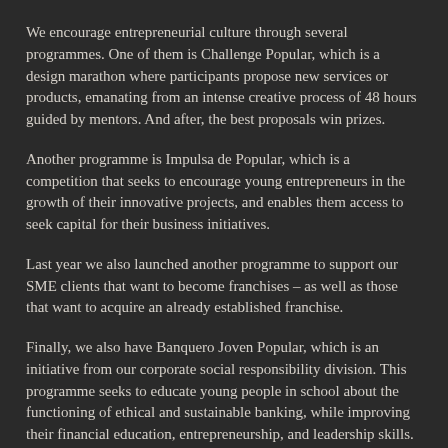We encourage entrepreneurial culture through several programmes. One of them is Challenge Popular, which is a design marathon where participants propose new services or products, emanating from an intense creative process of 48 hours guided by mentors. And after, the best proposals win prizes.
Another programme is Impulsa de Popular, which is a competition that seeks to encourage young entrepreneurs in the growth of their innovative projects, and enables them access to seek capital for their business initiatives.
Last year we also launched another programme to support our SME clients that want to become franchises – as well as those that want to acquire an already established franchise.
Finally, we also have Banquero Joven Popular, which is an initiative from our corporate social responsibility division. This programme seeks to educate young people in school about the functioning of ethical and sustainable banking, while improving their financial education, entrepreneurship, and leadership skills.